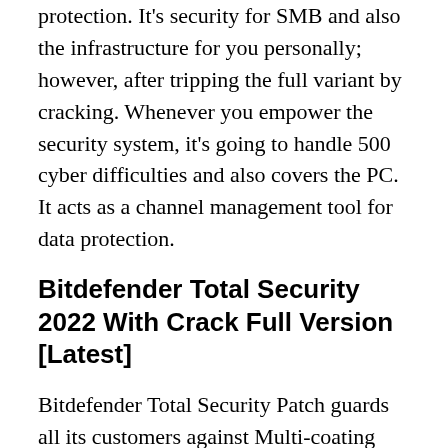protection. It's security for SMB and also the infrastructure for you personally; however, after tripping the full variant by cracking. Whenever you empower the security system, it's going to handle 500 cyber difficulties and also covers the PC. It acts as a channel management tool for data protection.
Bitdefender Total Security 2022 With Crack Full Version [Latest]
Bitdefender Total Security Patch guards all its customers against Multi-coating ransomware to help keep your electronic digital life secure constantly. it is the perfect choice whenever you require to make sure